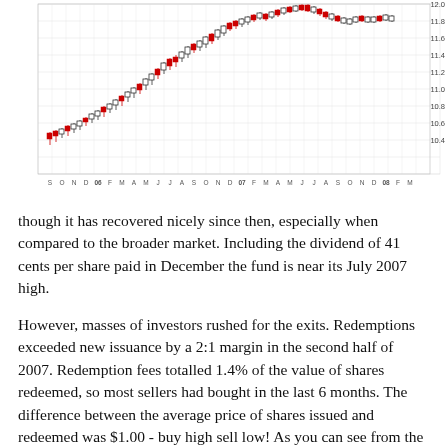[Figure (continuous-plot): Candlestick/OHLC stock price chart showing price movement over time from approximately September through March across multiple years (2006-2008). The y-axis shows price values from approximately 10.4 to 12.0. The chart displays an upward trend with red and white candlesticks, rising from around 10.4-10.6 to approximately 12.0. X-axis shows monthly labels: S O N D 06 F M A M J J A S O N D 07 F M A M J J A S O N D 08 F M.]
though it has recovered nicely since then, especially when compared to the broader market. Including the dividend of 41 cents per share paid in December the fund is near its July 2007 high.
However, masses of investors rushed for the exits. Redemptions exceeded new issuance by a 2:1 margin in the second half of 2007. Redemption fees totalled 1.4% of the value of shares redeemed, so most sellers had bought in the last 6 months. The difference between the average price of shares issued and redeemed was $1.00 - buy high sell low! As you can see from the chart, prices averaged much more than $10.40 in the second half of 2007. Most redeemers had...